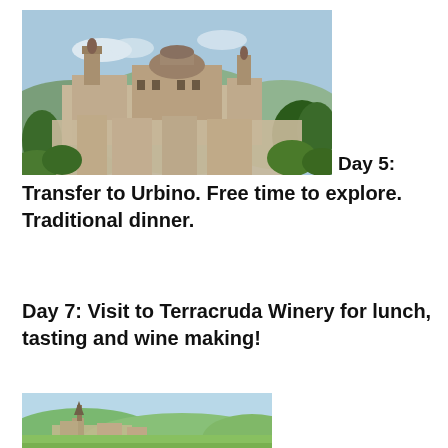[Figure (photo): Aerial view of Urbino historic city with domed cathedral and terracotta rooftops surrounded by green hills and trees]
Day 5:
Transfer to Urbino. Free time to explore. Traditional dinner.
Day 7: Visit to Terracruda Winery for lunch, tasting and wine making!
[Figure (photo): Panoramic landscape view of a small Italian town with a church steeple and rolling green hills under blue sky]